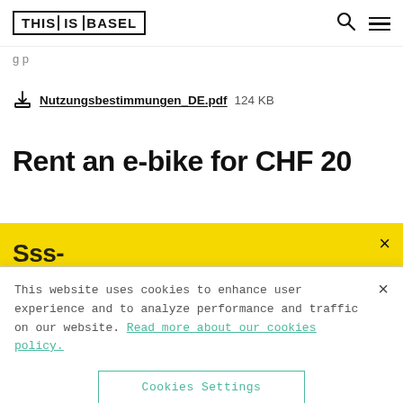THIS IS BASEL
Nutzungsbestimmungen_DE.pdf  124 KB
Rent an e-bike for CHF 20
[Figure (screenshot): Yellow promotional banner with close (×) button and partially visible bold text at bottom]
This website uses cookies to enhance user experience and to analyze performance and traffic on our website. Read more about our cookies policy.
Cookies Settings